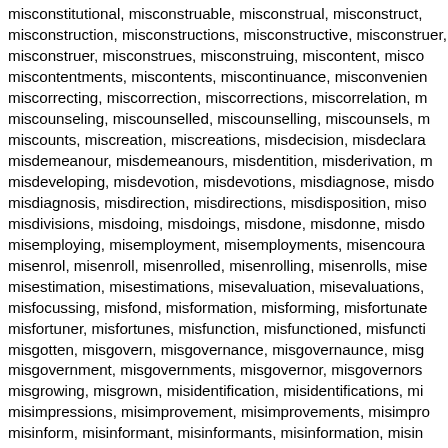misconstitutional, misconstruable, misconstrual, misconstruct, misconstruction, misconstructions, misconstructive, misconstruer, misconstrues, misconstruing, miscontent, miscontentments, miscontents, miscontinuance, misconvenience, miscorrecting, miscorrection, miscorrections, miscorrelation, miscounseling, miscounselled, miscounselling, miscounsels, miscounts, miscreation, miscreations, misdecision, misdeclaration, misdemeanour, misdemeanours, misdentition, misderivation, misdeveloping, misdevotion, misdevotions, misdiagnose, misdiagnosis, misdirection, misdirections, misdisposition, misdivisions, misdoing, misdoings, misdone, misdonne, misemploying, misemployment, misemployments, misencourage, misenrol, misenroll, misenrolled, misenrolling, misenrolls, misestimation, misestimations, misevaluation, misevaluations, misfocussing, misfond, misformation, misforming, misfortuner, misfortunes, misfunction, misfunctioned, misgotten, misgovern, misgovernance, misgovernaunce, misgovernment, misgovernments, misgovernor, misgovernors, misgrowing, misgrown, misidentification, misidentifications, misimpressions, misimprovement, misimprovements, misinform, misinformant, misinformants, misinformation, misinformers, misinforming, misinforms, misinstruction, misinterpretations, misintimation, misiones, misjoin, misjoinder, misjoins, misknow, misknowing, misknowledge, mislocating, mislocation, mislocations, mislodging, mismenstru